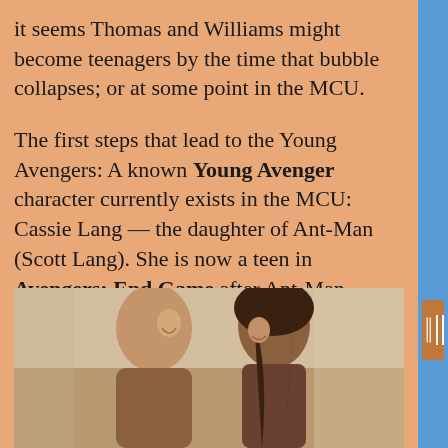it seems Thomas and Williams might become teenagers by the time that bubble collapses; or at some point in the MCU.
The first steps that lead to the Young Avengers: A known Young Avenger character currently exists in the MCU: Cassie Lang — the daughter of Ant-Man (Scott Lang). She is now a teen in Avengers: End Game after Ant-Man escaped the Quantum Realm to land 5 years after the events of Ant-Man and the Wasp (2018).
[Figure (photo): Two people facing each other in close conversation — a man on the left and a woman on the right who is smiling, appearing to be a still from a film or TV show.]